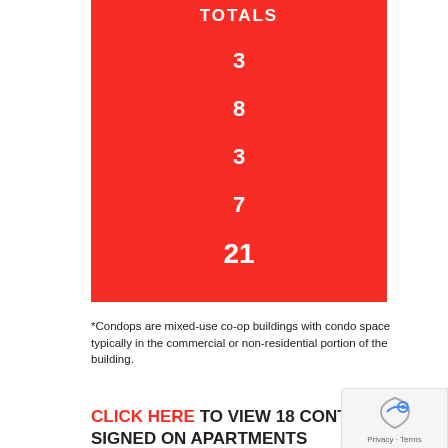TOTALS
3
8
3
7
21
*Condops are mixed-use co-op buildings with condo space typically in the commercial or non-residential portion of the building.
CLICK HERE TO VIEW 18 CONTRACTS SIGNED ON APARTMENTS